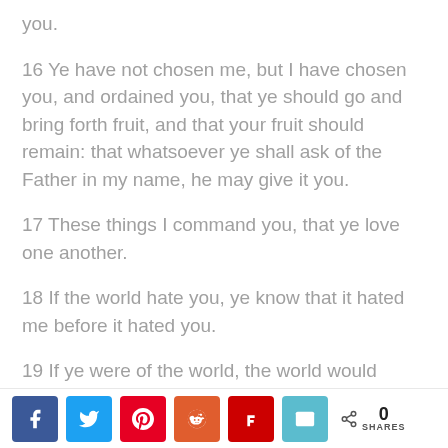you.
16 Ye have not chosen me, but I have chosen you, and ordained you, that ye should go and bring forth fruit, and that your fruit should remain: that whatsoever ye shall ask of the Father in my name, he may give it you.
17 These things I command you, that ye love one another.
18 If the world hate you, ye know that it hated me before it hated you.
19 If ye were of the world, the world would
[Figure (infographic): Social share bar with Facebook, Twitter, Pinterest, Reddit, Flipboard, Email buttons and a share count of 0]